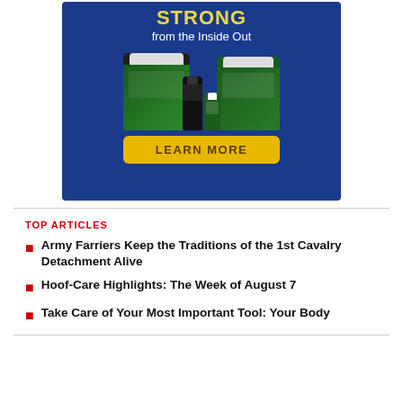[Figure (illustration): Advertisement banner on a dark blue background showing the text 'STRONG from the Inside Out' in yellow and white, with product images of horse supplement containers (buckets and bottles) and a yellow 'LEARN MORE' button.]
TOP ARTICLES
Army Farriers Keep the Traditions of the 1st Cavalry Detachment Alive
Hoof-Care Highlights: The Week of August 7
Take Care of Your Most Important Tool: Your Body